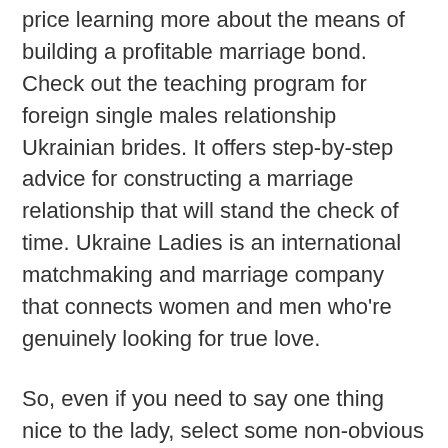price learning more about the means of building a profitable marriage bond. Check out the teaching program for foreign single males relationship Ukrainian brides. It offers step-by-step advice for constructing a marriage relationship that will stand the check of time. Ukraine Ladies is an international matchmaking and marriage company that connects women and men who're genuinely looking for true love.
So, even if you need to say one thing nice to the lady, select some non-obvious things. For example, her humorousness, degree of intelligence, or how she begins blushing. The solely requirement is that your phrases should have something to do with actuality. لعبة التنس
There are plenty of loyal and devoted girls on our website. A lot of males are craving to get a Ukrainian bride, but they want a girl to love